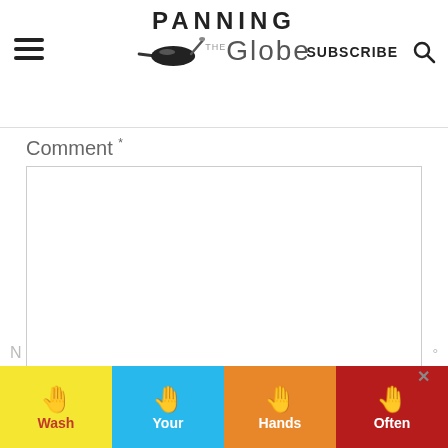Panning The Globe — SUBSCRIBE
Comment *
[Comment text area — empty input box]
198
[Figure (infographic): Wash Your Hands Often advertisement banner with hand-washing emoji illustrations on colored segments]
N [truncated footer text]